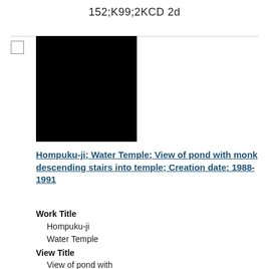152;K99;2KCD 2d
[Figure (photo): Black square thumbnail image of Hompuku-ji Water Temple]
Hompuku-ji; Water Temple; View of pond with monk descending stairs into temple; Creation date: 1988-1991
Work Title
Hompuku-ji
Water Temple
View Title
View of pond with
monk descending stairs